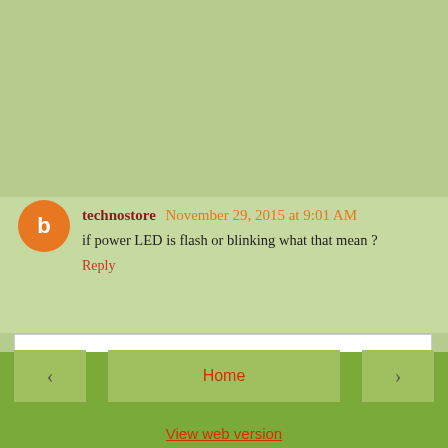for me to make conclusion, is the B+ present? if so is it normal? start from known to unknown.
Regards Humphrey
Reply
technostore  November 29, 2015 at 9:01 AM
if power LED is flash or blinking what that mean ?
Reply
To leave a comment, click the button below to sign in with Google.
SIGN IN WITH GOOGLE
‹   Home   ›   View web version